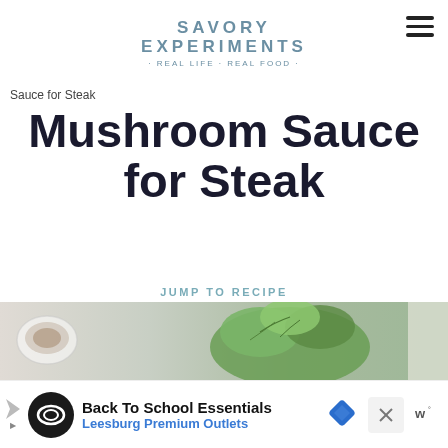SAVORY EXPERIMENTS · REAL LIFE - REAL FOOD ·
Sauce for Steak
Mushroom Sauce for Steak
JUMP TO RECIPE
After you've tried this amazing mushroom sauce for steak, you will never serve a steak without it again. Almost like a mushroom gravy but with more gusto.
[Figure (infographic): Social sharing buttons: heart icon with teal background showing 4.9K saves, and a share icon button]
[Figure (infographic): What's Next widget showing Gouda and Corn Salad with a thumbnail image]
[Figure (photo): Partial photo strip showing a bowl of ingredients and fresh herbs/parsley]
[Figure (infographic): Advertisement banner for Back To School Essentials at Leesburg Premium Outlets with logo and navigation arrow icon]